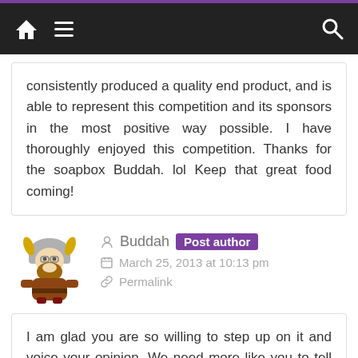Navigation bar with home, menu, and search icons
consistently produced a quality end product, and is able to represent this competition and its sponsors in the most positive way possible. I have thoroughly enjoyed this competition. Thanks for the soapbox Buddah. lol Keep that great food coming!
Buddah Post author
March 25, 2013 at 10:13 pm
Permalink
I am glad you are so willing to step up on it and voice your opinion. We need more like you to tell us what they would like to see and that they are enjoying what we are doing here. Thanks so much for taking the time to